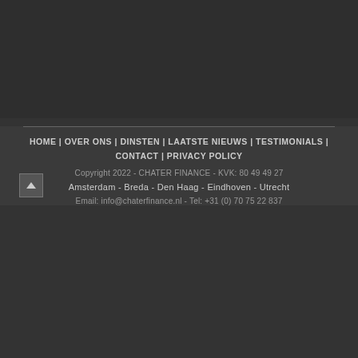HOME | OVER ONS | DINSTEN | LAATSTE NIEUWS | TESTIMONIALS | CONTACT | PRIVACY POLICY
Copyright 2022 - CHATER FINANCE - KVK: 80 49 49 27
Amsterdam - Breda - Den Haag - Eindhoven - Utrecht
Email: info@chaterfinance.nl - Tel: +31 (0) 70 75 22 837